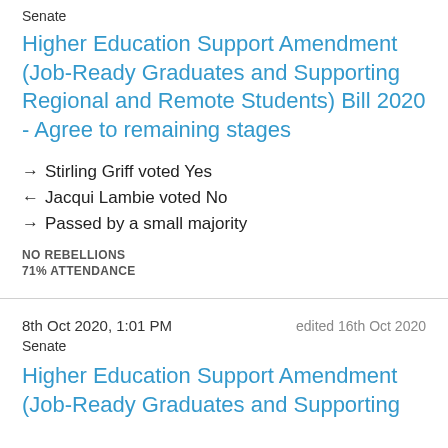Senate
Higher Education Support Amendment (Job-Ready Graduates and Supporting Regional and Remote Students) Bill 2020 - Agree to remaining stages
→ Stirling Griff voted Yes
← Jacqui Lambie voted No
→ Passed by a small majority
NO REBELLIONS
71% ATTENDANCE
8th Oct 2020, 1:01 PM   edited 16th Oct 2020
Senate
Higher Education Support Amendment (Job-Ready Graduates and Supporting